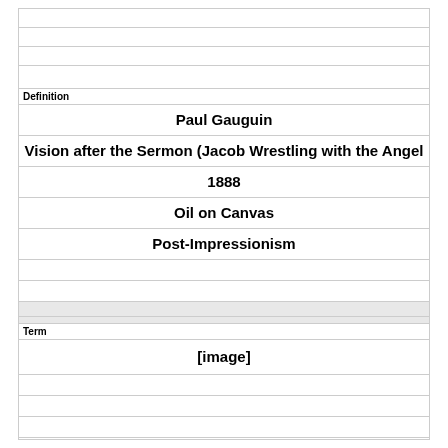Definition
Paul Gauguin
Vision after the Sermon (Jacob Wrestling with the Angel
1888
Oil on Canvas
Post-Impressionism
Term
[image]